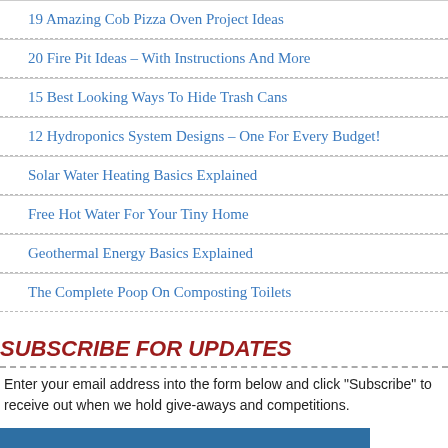19 Amazing Cob Pizza Oven Project Ideas
20 Fire Pit Ideas – With Instructions And More
15 Best Looking Ways To Hide Trash Cans
12 Hydroponics System Designs – One For Every Budget!
Solar Water Heating Basics Explained
Free Hot Water For Your Tiny Home
Geothermal Energy Basics Explained
The Complete Poop On Composting Toilets
SUBSCRIBE FOR UPDATES
Enter your email address into the form below and click "Subscribe" to receive out when we hold give-aways and competitions.
[Figure (illustration): Banner image with text 'Solar Water Heating Basics' on a blue background]